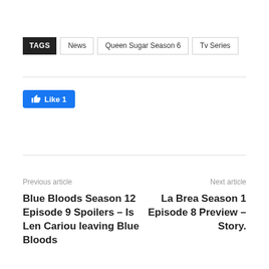TAGS  News  Queen Sugar Season 6  Tv Series
[Figure (other): Facebook Like button showing thumbs up icon and 'Like 1']
Previous article
Next article
Blue Bloods Season 12 Episode 9 Spoilers – Is Len Cariou leaving Blue Bloods
La Brea Season 1 Episode 8 Preview – Story.